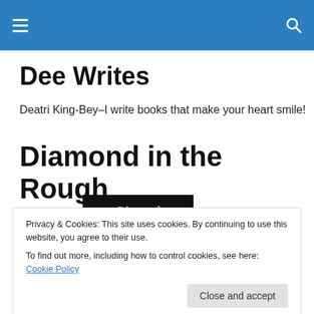Navigation header bar with menu and search icons
Dee Writes
Deatri King-Bey–I write books that make your heart smile!
Diamond in the Rough
[Figure (photo): Book cover image for 'Diamond In The Rough' showing stylized text and a diamond on a dark background]
Privacy & Cookies: This site uses cookies. By continuing to use this website, you agree to their use.
To find out more, including how to control cookies, see here: Cookie Policy
Close and accept